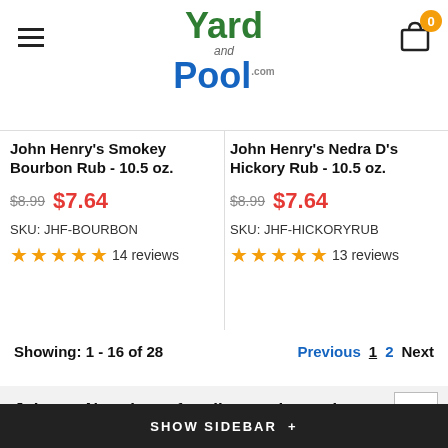Yard and Pool .com
John Henry's Smokey Bourbon Rub - 10.5 oz.
$8.99  $7.64  SKU: JHF-BOURBON  14 reviews
John Henry's Nedra D's Hickory Rub - 10.5 oz.
$8.99  $7.64  SKU: JHF-HICKORYRUB  13 reviews
Showing: 1 - 16 of 28
Previous  1  2  Next
Join our Newsletter for all our sales and deals!
SHOW SIDEBAR +